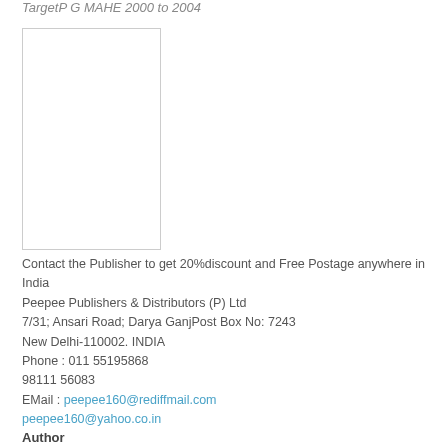TargetP G MAHE 2000 to 2004
[Figure (photo): Book cover image placeholder — white rectangle with light border]
Contact the Publisher to get 20%discount and Free Postage anywhere in India
Peepee Publishers & Distributors (P) Ltd
7/31; Ansari Road; Darya GanjPost Box No: 7243
New Delhi-110002. INDIA
Phone : 011 55195868
98111 56083
EMail : peepee160@rediffmail.com
peepee160@yahoo.co.in
Author